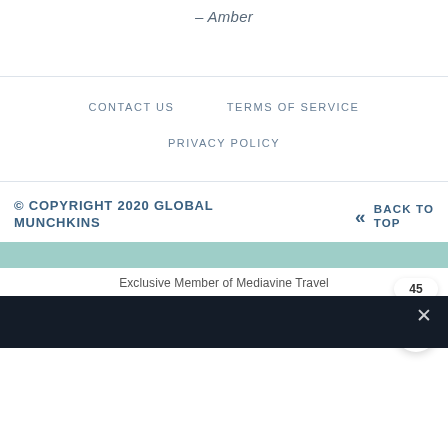– Amber
CONTACT US    TERMS OF SERVICE    PRIVACY POLICY
© COPYRIGHT 2020 GLOBAL MUNCHKINS
BACK TO TOP
Exclusive Member of Mediavine Travel